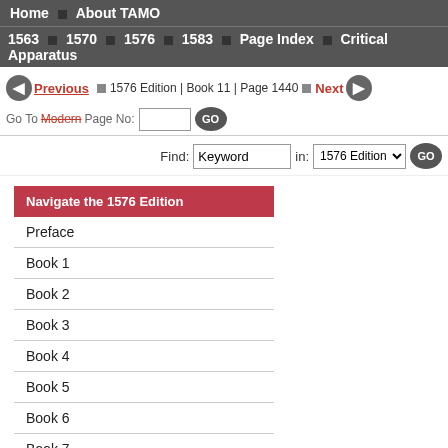Home ■ About TAMO
1563 ■ 1570 ■ 1576 ■ 1583 ■ Page Index ■ Critical Apparatus
◄ Previous ■ 1576 Edition | Book 11 | Page 1440 ■ Next ►
Go To Modern Page No: [input] GO
Find: Keyword in: 1576 Edition GO
Navigate the 1576 Edition
Preface
Book 1
Book 2
Book 3
Book 4
Book 5
Book 6
Book 7
Book 8
Book 9
Book 10